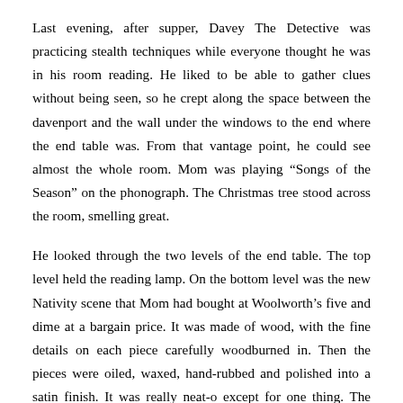Last evening, after supper, Davey The Detective was practicing stealth techniques while everyone thought he was in his room reading. He liked to be able to gather clues without being seen, so he crept along the space between the davenport and the wall under the windows to the end where the end table was. From that vantage point, he could see almost the whole room. Mom was playing “Songs of the Season” on the phonograph. The Christmas tree stood across the room, smelling great.
He looked through the two levels of the end table. The top level held the reading lamp. On the bottom level was the new Nativity scene that Mom had bought at Woolworth’s five and dime at a bargain price. It was made of wood, with the fine details on each piece carefully woodburned in. Then the pieces were oiled, waxed, hand-rubbed and polished into a satin finish. It was really neat-o except for one thing. The baby was missing. That’s why it was a bargain. But Mom found a porcelain baby Jesus